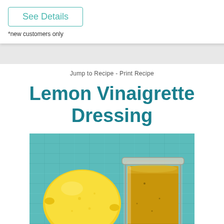See Details
*new customers only
Jump to Recipe - Print Recipe
Lemon Vinaigrette Dressing
[Figure (photo): A lemon and a glass jar filled with golden lemon vinaigrette dressing, placed on a teal/turquoise textured cloth background. A small Coach badge is visible in the bottom-left corner of the image.]